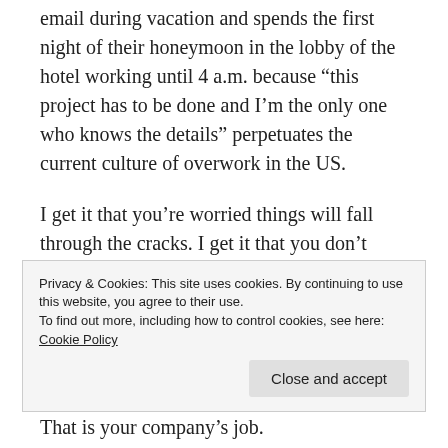email during vacation and spends the first night of their honeymoon in the lobby of the hotel working until 4 a.m. because “this project has to be done and I’m the only one who knows the details” perpetuates the current culture of overwork in the US.
I get it that you’re worried things will fall through the cracks. I get it that you don’t have a backup.
But it is not your job to figure out your own backup. You’re not a teenager working at the mall, wanting to switch shifts with someone.
Privacy & Cookies: This site uses cookies. By continuing to use this website, you agree to their use.
To find out more, including how to control cookies, see here: Cookie Policy
That is your company’s job.